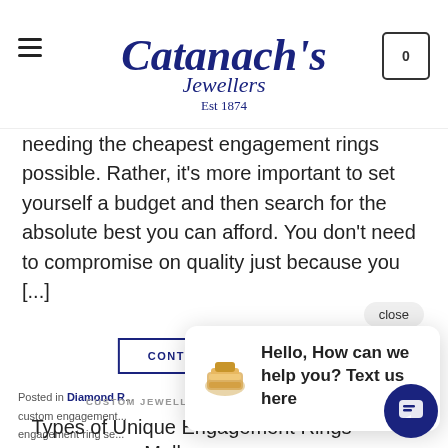Catanach's Jewellers Est 1874
needing the cheapest engagement rings possible. Rather, it's more important to set yourself a budget and then search for the absolute best you can afford. You don't need to compromise on quality just because you [...]
CONTINUE READING →
close
Posted in Diamond R... custom engagement... engagement ring se...
[Figure (screenshot): Chat popup with ring image saying: Hello, How can we help you? Text us here]
CUSTOM JEWELLERY, DIAMOND RINGS, RINGS
Types of Unique Engagement Rings Melbourne